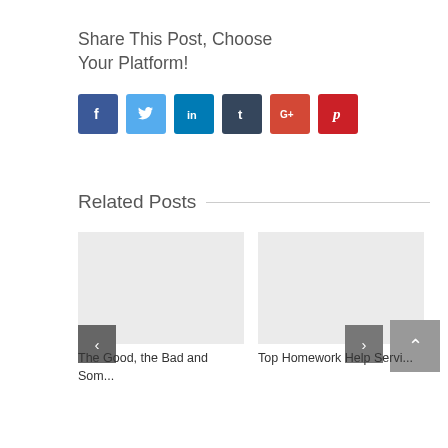Share This Post, Choose Your Platform!
[Figure (infographic): Social media share buttons: Facebook, Twitter, LinkedIn, Tumblr, Google+, Pinterest]
Related Posts
[Figure (photo): Placeholder image for related post 1]
The Good, the Bad and Som...
[Figure (photo): Placeholder image for related post 2]
Top Homework Help Servi...